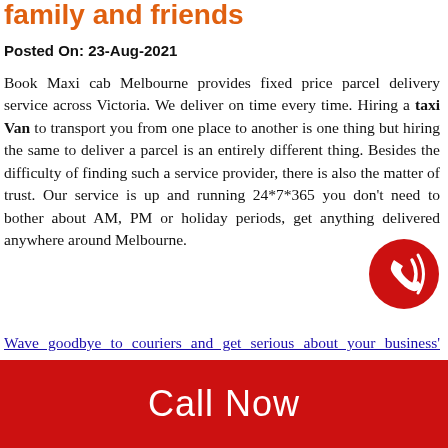family and friends
Posted On: 23-Aug-2021
Book Maxi cab Melbourne provides fixed price parcel delivery service across Victoria. We deliver on time every time. Hiring a taxi Van to transport you from one place to another is one thing but hiring the same to deliver a parcel is an entirely different thing. Besides the difficulty of finding such a service provider, there is also the matter of trust. Our service is up and running 24*7*365 you don't need to bother about AM, PM or holiday periods, get anything delivered anywhere around Melbourne.
Wave goodbye to couriers and get serious about your business' deliveries. Choose a reliable and cheap option by
[Figure (illustration): Red circular phone/call icon with sound waves]
Call Now